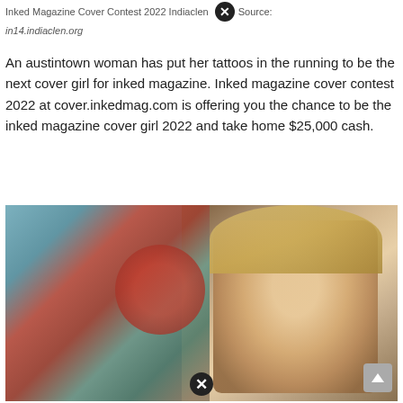Inked Magazine Cover Contest 2022 Indiaclen Source:
in14.indiaclen.org
An austintown woman has put her tattoos in the running to be the next cover girl for inked magazine. Inked magazine cover contest 2022 at cover.inkedmag.com is offering you the chance to be the inked magazine cover girl 2022 and take home $25,000 cash.
[Figure (photo): A woman with blonde hair and a heavily tattooed arm, wearing dark lipstick, photographed outdoors with a blurred background.]